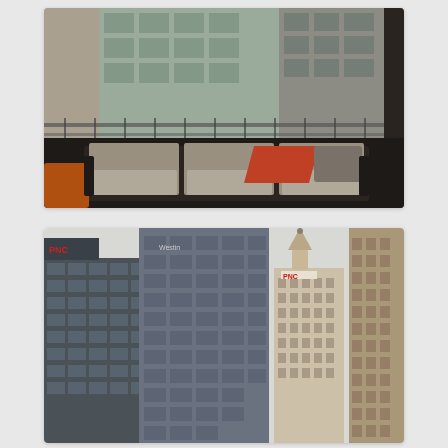[Figure (photo): Rooftop terrace or balcony with a modern outdoor sofa with taupe/gray cushions and an orange accent pillow, overlooking urban city buildings with glass facades and metal railings. Another orange/tan piece of furniture is partially visible on the left.]
[Figure (photo): Upward view of downtown city skyscrapers including modern glass office towers and a classic ornate building with a cupola/dome bearing a PNC logo, against an overcast white sky.]